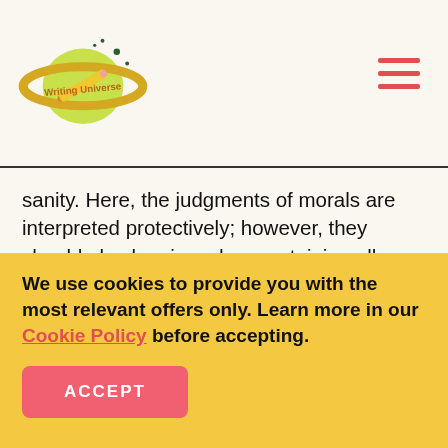[Figure (logo): Writing Universe logo — planet with pencil and text 'Writing Universe']
sanity. Here, the judgments of morals are interpreted protectively; however, they should also be viewed as containing all forms and forces of cognitive dialogue. Additionally, there is sufficient extent for moral language as containing more rich connotations than being emotional, moral disputes, and for decisive appraisal of moral views. Many morality views influenced by Hume emphasize on the function of evolutionary elucidation. The Humean-influenced
We use cookies to provide you with the most relevant offers only. Learn more in our Cookie Policy before accepting.
ACCEPT